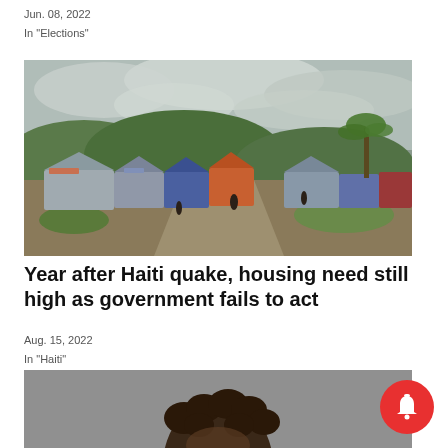Jun. 08, 2022
In "Elections"
[Figure (photo): Outdoor scene showing a makeshift tent camp with multiple tents and tarps, people walking on a dirt path, green hills and cloudy sky in the background. Haiti earthquake displacement camp.]
Year after Haiti quake, housing need still high as government fails to act
Aug. 15, 2022
In "Haiti"
[Figure (photo): Close-up photo of a person with curly dark hair, partially visible at the bottom of the page.]